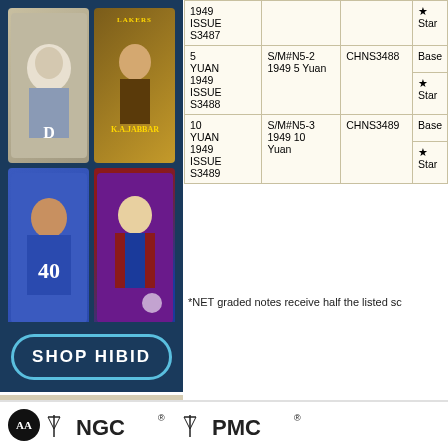[Figure (illustration): Sports trading cards collage: baseball player in Detroit uniform, Lakers basketball card (Kareem Abdul-Jabbar), football player wearing #40, soccer player in FC Barcelona uniform]
SHOP HIBID
RECENT JOURNALS
View All Journals >
|  |  |  |  |
| --- | --- | --- | --- |
| 1949 ISSUE S3487 |  |  | ★ Star |
| 5 YUAN 1949 ISSUE S3488 | S/M#N5-2 1949 5 Yuan | CHNS3488 | Base |
|  |  |  | ★ Star |
| 10 YUAN 1949 ISSUE S3489 | S/M#N5-3 1949 10 Yuan | CHNS3489 | Base |
|  |  |  | ★ Star |
*NET graded notes receive half the listed sc
[Figure (logo): NGC and PMC logos with AA circle emblem]